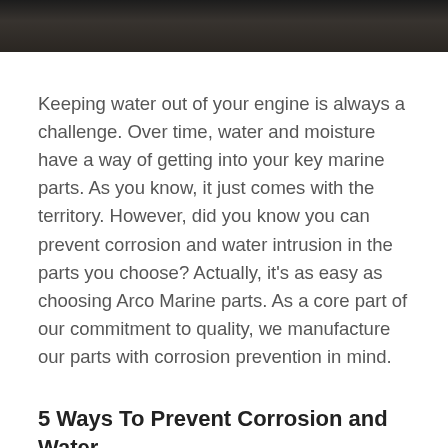[Figure (photo): Dark photograph strip at the top of the page, partially visible, showing a dark marine/nautical scene]
Keeping water out of your engine is always a challenge. Over time, water and moisture have a way of getting into your key marine parts. As you know, it just comes with the territory. However, did you know you can prevent corrosion and water intrusion in the parts you choose? Actually, it's as easy as choosing Arco Marine parts. As a core part of our commitment to quality, we manufacture our parts with corrosion prevention in mind.
5 Ways To Prevent Corrosion and Water